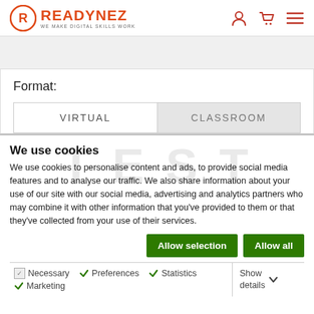[Figure (logo): Readynez logo with circular R icon in orange/red and tagline 'WE MAKE DIGITAL SKILLS WORK']
Format:
VIRTUAL | CLASSROOM (tab selector)
We use cookies
We use cookies to personalise content and ads, to provide social media features and to analyse our traffic. We also share information about your use of our site with our social media, advertising and analytics partners who may combine it with other information that you've provided to them or that they've collected from your use of their services.
Allow selection | Allow all (buttons)
Necessary  Preferences  Statistics  Marketing  Show details